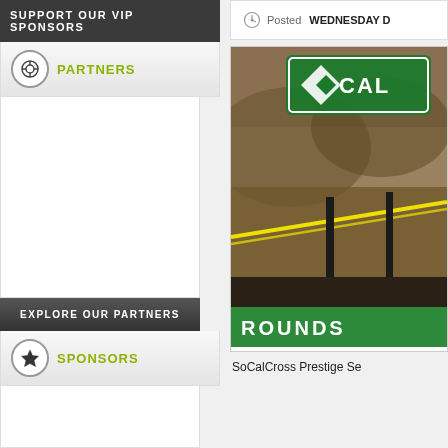SUPPORT OUR VIP SPONSORS
PARTNERS
EXPLORE OUR PARTNERS
SPONSORS
Posted WEDNESDAY D
[Figure (photo): SoCalCross cycling event promotional image showing mountain terrain with yellow tape course markers, featuring the SoCal logo and 'ROUNDS' text on a green banner]
SoCalCross Prestige Se